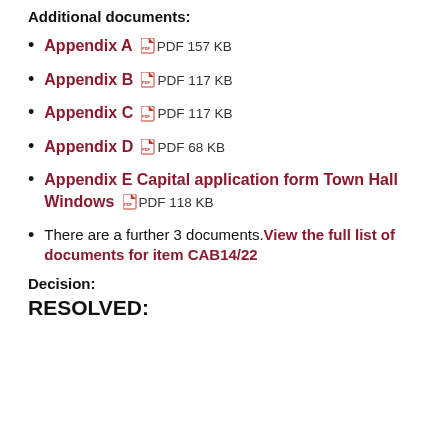Additional documents:
Appendix A  PDF 157 KB
Appendix B  PDF 117 KB
Appendix C  PDF 117 KB
Appendix D  PDF 68 KB
Appendix E Capital application form Town Hall Windows  PDF 118 KB
There are a further 3 documents. View the full list of documents for item CAB14/22
Decision:
RESOLVED: